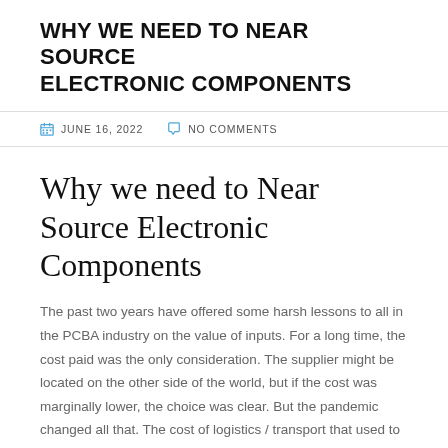WHY WE NEED TO NEAR SOURCE ELECTRONIC COMPONENTS
JUNE 16, 2022   NO COMMENTS
Why we need to Near Source Electronic Components
The past two years have offered some harsh lessons to all in the PCBA industry on the value of inputs. For a long time, the cost paid was the only consideration. The supplier might be located on the other side of the world, but if the cost was marginally lower, the choice was clear. But the pandemic changed all that. The cost of logistics / transport that used to be negligible ballooned beyond expectations. And for some parts – no matter what cost